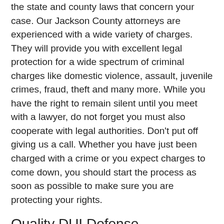the state and county laws that concern your case. Our Jackson County attorneys are experienced with a wide variety of charges. They will provide you with excellent legal protection for a wide spectrum of criminal charges like domestic violence, assault, juvenile crimes, fraud, theft and many more. While you have the right to remain silent until you meet with a lawyer, do not forget you must also cooperate with legal authorities. Don't put off giving us a call. Whether you have just been charged with a crime or you expect charges to come down, you should start the process as soon as possible to make sure you are protecting your rights.
Quality DUI Defense
DUIs are some of the most frequent charges that are brought against individuals. Many attorneys practice DUI defense but county charges vary greatly. Depending on specific county laws, you may be looking at jail time, alcohol education courses and even hefty fines or suspended driver's license.